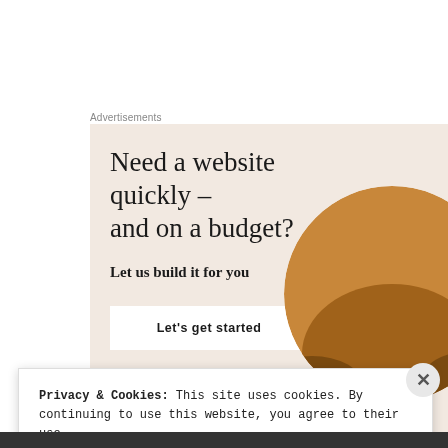Advertisements
[Figure (illustration): Advertisement banner with cream/beige background. Large serif heading 'Need a website quickly – and on a budget?', subtext 'Let us build it for you', a white 'Let's get started' button, and a circular photo of a person wearing a brown sweater typing on a laptop.]
Privacy & Cookies: This site uses cookies. By continuing to use this website, you agree to their use.
To find out more, including how to control cookies, see here: Cookie Policy
Close and accept